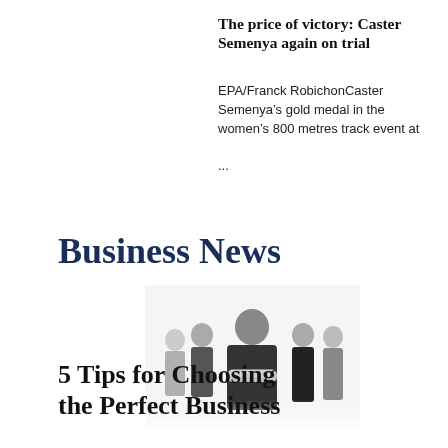The price of victory: Caster Semenya again on trial
EPA/Franck RobichonCaster Semenya’s gold medal in the women’s 800 metres track event at ...
Business News
[Figure (photo): Group of five business professionals in formal attire, centered male figure with arms crossed, four others standing behind him on a white background]
5 Tips for Choosing the Perfect Business